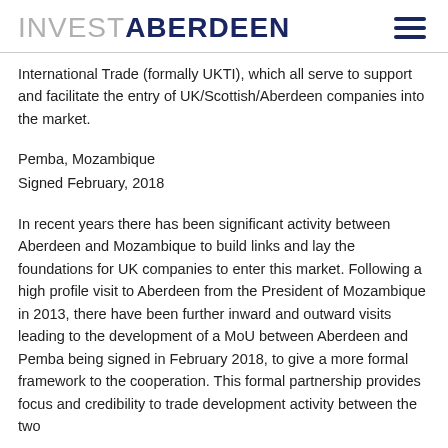INVESTABERDEEN
International Trade (formally UKTI), which all serve to support and facilitate the entry of UK/Scottish/Aberdeen companies into the market.
Pemba, Mozambique
Signed February, 2018
In recent years there has been significant activity between Aberdeen and Mozambique to build links and lay the foundations for UK companies to enter this market. Following a high profile visit to Aberdeen from the President of Mozambique in 2013, there have been further inward and outward visits leading to the development of a MoU between Aberdeen and Pemba being signed in February 2018, to give a more formal framework to the cooperation. This formal partnership provides focus and credibility to trade development activity between the two